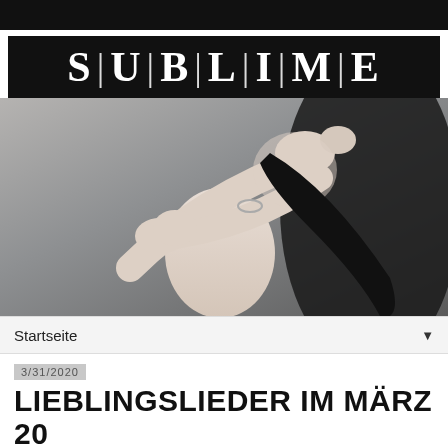[Figure (logo): SUBLIME magazine logo, white text on black background, letters separated by vertical bars, inside a bordered rectangle]
[Figure (photo): Artistic photograph of a figure with pale skin and long dark hair, arms crossed over face, gray background, artistic/editorial style]
Startseite
3/31/2020
LIEBLINGSLIEDER IM MÄRZ 20